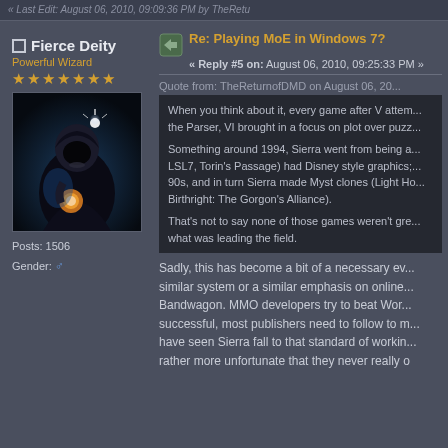« Last Edit: August 06, 2010, 09:09:36 PM by TheRetu
☐ Fierce Deity
Powerful Wizard
★★★★★★★
Posts: 1506
Gender: ♂
[Figure (illustration): Dark fantasy avatar showing a hooded figure with a glowing star above, holding an orb, dark blue/black color scheme]
Re: Playing MoE in Windows 7?
« Reply #5 on: August 06, 2010, 09:25:33 PM »
Quote from: TheReturnofDMD on August 06, 20...
When you think about it, every game after V attem... the Parser, VI brought in a focus on plot over puzz...

Something around 1994, Sierra went from being a... LSL7, Torin's Passage) had Disney style graphics;... 90s, and in turn Sierra made Myst clones (Light Ho... Birthright: The Gorgon's Alliance).

That's not to say none of those games weren't gre... what was leading the field.
Sadly, this has become a bit of a necessary ev... similar system or a similar emphasis on online... Bandwagon. MMO developers try to beat Wor... successful, most publishers need to follow to m... have seen Sierra fall to that standard of workin... rather more unfortunate that they never really o